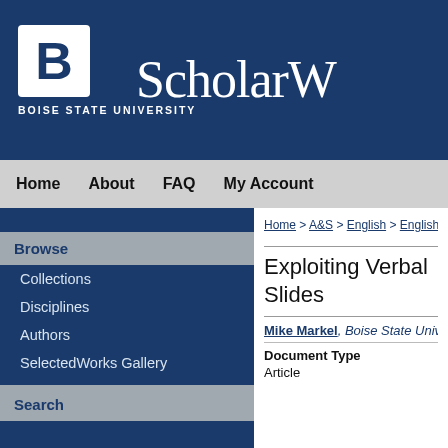BOISE STATE UNIVERSITY ScholarW
Home
About
FAQ
My Account
Browse
Collections
Disciplines
Authors
SelectedWorks Gallery
Links
Albertsons Library
Division of Research
Graduate College
Search
Home > A&S > English > English
Exploiting Verbal Slides
Mike Markel, Boise State Univ
Document Type
Article